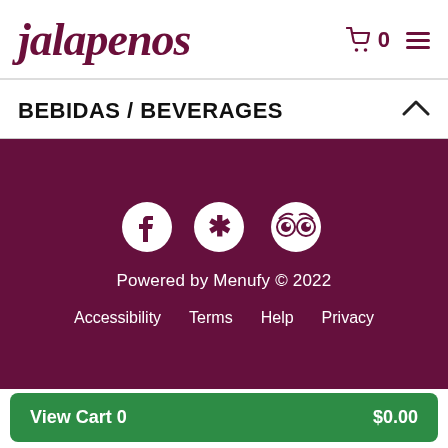jalapenos
BEBIDAS / BEVERAGES
[Figure (other): Dark maroon footer block with social media icons (Facebook, Yelp, TripAdvisor), 'Powered by Menufy © 2022' text, and footer links: Accessibility, Terms, Help, Privacy]
View Cart 0   $0.00